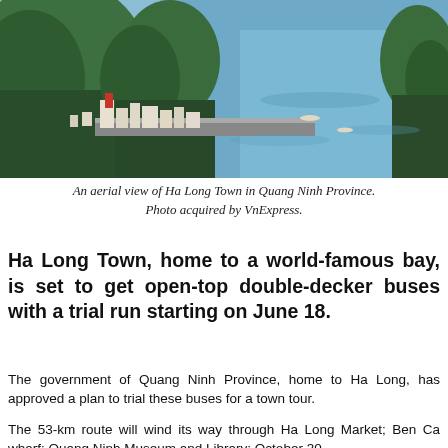[Figure (photo): Aerial view of Ha Long Town in Quang Ninh Province, showing limestone karst mountains, a coastal road, urban buildings, and the bay with turquoise water.]
An aerial view of Ha Long Town in Quang Ninh Province. Photo acquired by VnExpress.
Ha Long Town, home to a world-famous bay, is set to get open-top double-decker buses with a trial run starting on June 18.
The government of Quang Ninh Province, home to Ha Long, has approved a plan to trial these buses for a town tour.
The 53-km route will wind its way through Ha Long Market; Ben Ca wharf; Quang Ninh Museum and Library; October 30